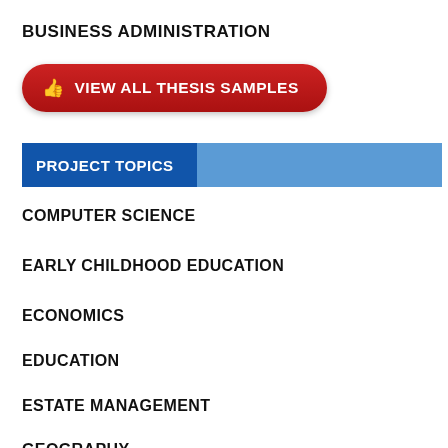BUSINESS ADMINISTRATION
[Figure (other): Red rounded button with thumbs-up icon and text VIEW ALL THESIS SAMPLES]
PROJECT TOPICS
COMPUTER SCIENCE
EARLY CHILDHOOD EDUCATION
ECONOMICS
EDUCATION
ESTATE MANAGEMENT
GEOGRAPHY
GUIDANCE AND COUNSELING